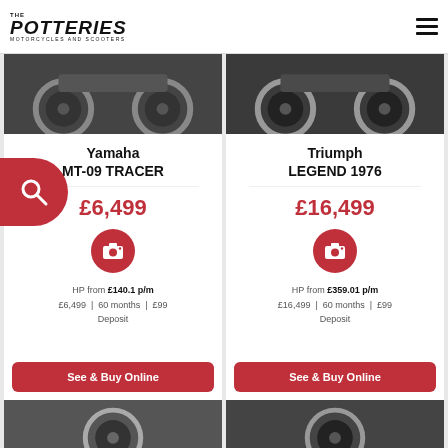[Figure (logo): The Potteries Motorcycles and Scooters logo in top-left header]
[Figure (photo): Yamaha MT-09 TRACER motorcycle image (partial, wheels visible)]
Yamaha MT-09 TRACER
£6,499
[Figure (other): Camera icon button (red circle)]
HP from £140.1 p/m £6,499 | 60 months | £99 Deposit
See & Buy Online
[Figure (photo): Triumph LEGEND 1976 motorcycle image (partial, wheels visible)]
Triumph LEGEND 1976
£16,499
[Figure (other): Camera icon button (red circle)]
HP from £359.01 p/m £16,499 | 60 months | £99 Deposit
See & Buy Online